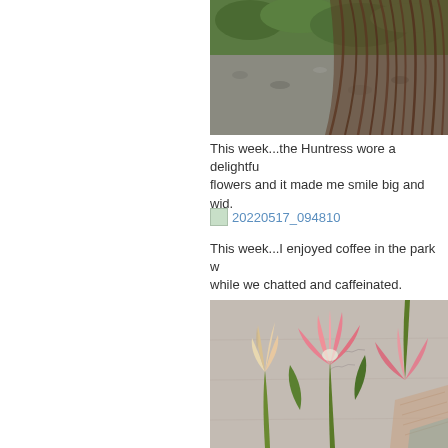[Figure (photo): Partial view of a person with long brown hair near greenery and gravel ground, cropped from a larger image]
This week...the Huntress wore a delightfu... flowers and it made me smile big and wid...
[Figure (photo): Broken/missing image placeholder link labeled 20220517_094810]
This week...I enjoyed coffee in the park w... while we chatted and caffeinated.
[Figure (photo): Close-up photo of pink and cream tulips against a light textured background]